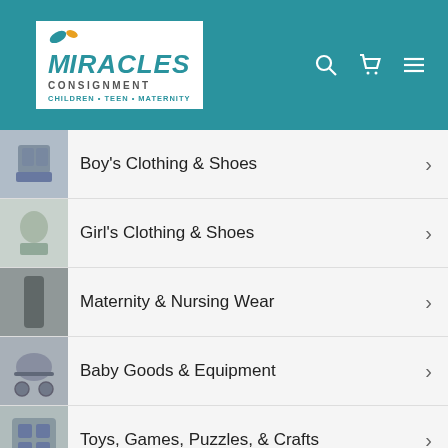[Figure (logo): Miracles Consignment logo - Children, Teen, Maternity - teal header with search, cart and menu icons]
Boy's Clothing & Shoes
Girl's Clothing & Shoes
Maternity & Nursing Wear
Baby Goods & Equipment
Toys, Games, Puzzles, & Crafts
About Us
Employment